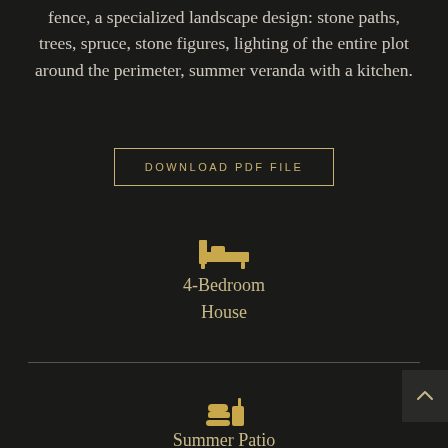fence, a specialized landscape design: stone paths, trees, spruce, stone figures, lighting of the entire plot around the perimeter, summer veranda with a kitchen.
DOWNLOAD PDF FILE
[Figure (illustration): Bed/bedroom icon in gold color]
4-Bedroom House
[Figure (illustration): Patio/food-bar icon in gold color]
Summer Patio